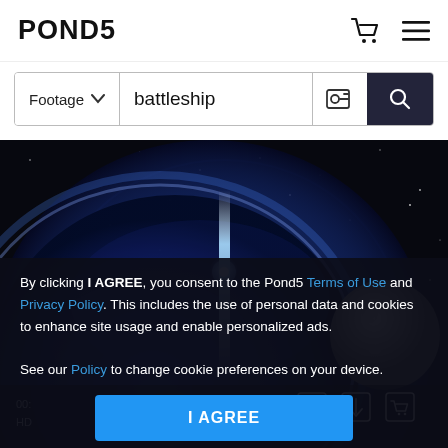POND5
Footage  battleship
[Figure (screenshot): Space scene showing a glowing blue planet or explosion with a bright white streak of light, asteroids/moons visible, dark starfield background. Video player interface.]
By clicking I AGREE, you consent to the Pond5 Terms of Use and Privacy Policy. This includes the use of personal data and cookies to enhance site usage and enable personalized ads. See our Policy to change cookie preferences on your device.
I AGREE